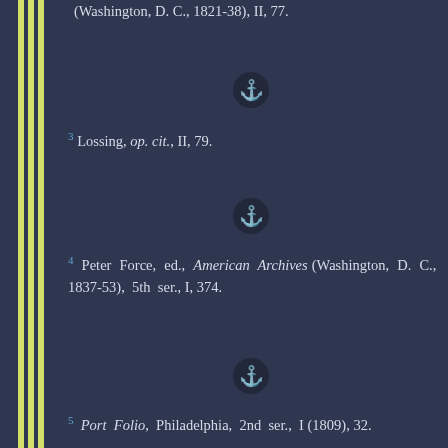(Washington, D. C., 1821-38), II, 77
[Figure (other): Anchor decorative divider symbol in dark circle]
3 Lossing, op. cit., II, 79.
[Figure (other): Anchor decorative divider symbol in dark circle]
4 Peter Force, ed., American Archives (Washington, D. C., 1837-53), 5th ser., I, 374.
[Figure (other): Anchor decorative divider symbol in dark circle]
5 Port Folio, Philadelphia, 2nd ser., I (1809), 32.
[Figure (other): Anchor decorative divider symbol in dark circle]